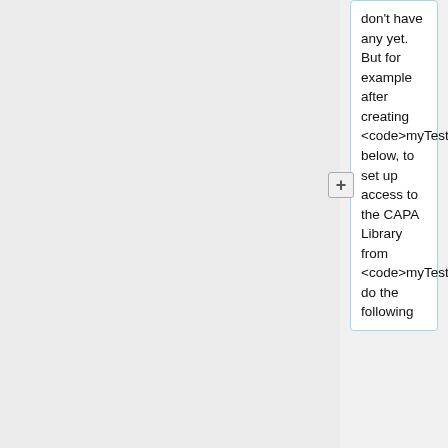don't have any yet. But for example after creating <code>myTestCourse</code> below, to set up access to the CAPA Library from <code>myTestCourse</code>, do the following
cd /opt/webwork/courses/myTestCourse/templates/
sudo ln -s /opt/webwork/libraries/rochester_physics_problib/capaLibrary